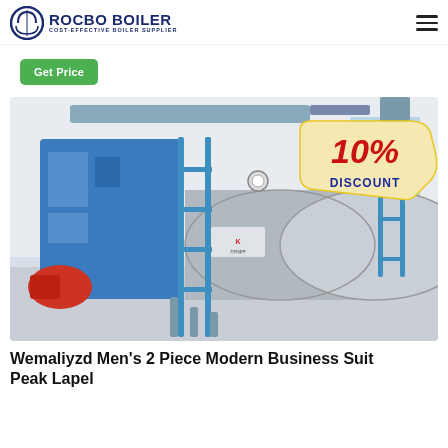ROCBO BOILER — COST-EFFECTIVE BOILER SUPPLIER
Get Price
[Figure (photo): Industrial gas-fired steam boiler (Rocbo brand) in a factory building, large cylindrical blue and silver boiler with piping, a red gas burner on the left, and a 10% DISCOUNT badge on the upper right.]
Wemaliyzd Men's 2 Piece Modern Business Suit Peak Lapel